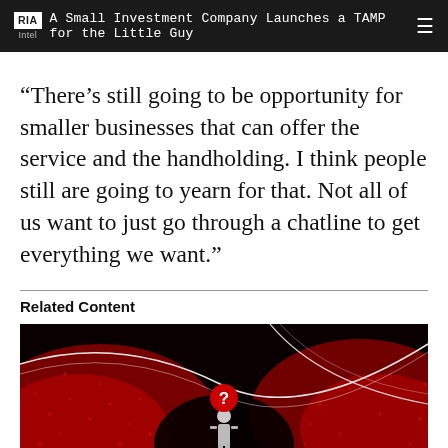RIA Intel — A Small Investment Company Launches a TAMP for the Little Guy
“There’s still going to be opportunity for smaller businesses that can offer the service and the handholding. I think people still are going to yearn for that. Not all of us want to just go through a chatline to get everything we want.”
Related Content
[Figure (illustration): Dark abstract illustration with red textured swirling shapes on black background, a white silhouette of a standing person in the center, and a red circle with a white question mark above the figure. White curved lines sweep across the image.]